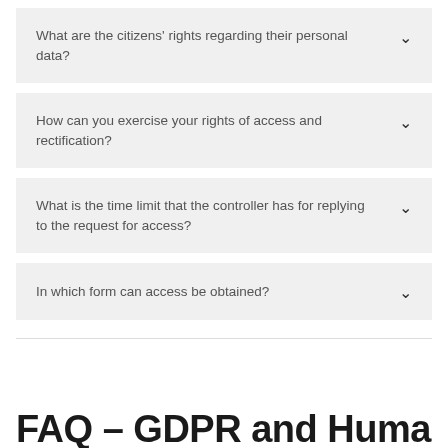What are the citizens' rights regarding their personal data?
How can you exercise your rights of access and rectification?
What is the time limit that the controller has for replying to the request for access?
In which form can access be obtained?
FAQ – GDPR and Human